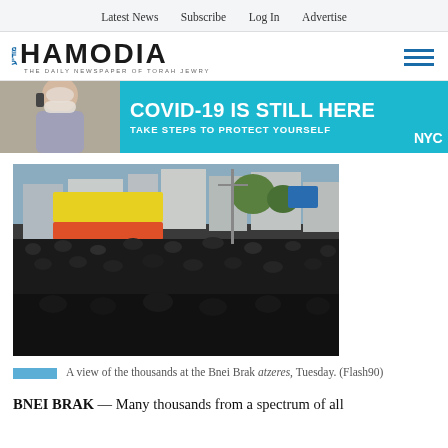Latest News  Subscribe  Log In  Advertise
[Figure (logo): Hamodia newspaper logo with Hebrew text and tagline 'THE DAILY NEWSPAPER OF TORAH JEWRY']
[Figure (infographic): NYC COVID-19 banner ad: photo of person in mask on phone, text 'COVID-19 IS STILL HERE / TAKE STEPS TO PROTECT YOURSELF', NYC logo]
[Figure (photo): Aerial view of a massive crowd of thousands of people gathered in Bnei Brak for an atzeres on Tuesday, with buildings and banners in the background.]
A view of the thousands at the Bnei Brak atzeres, Tuesday. (Flash90)
BNEI BRAK — Many thousands from a spectrum of all